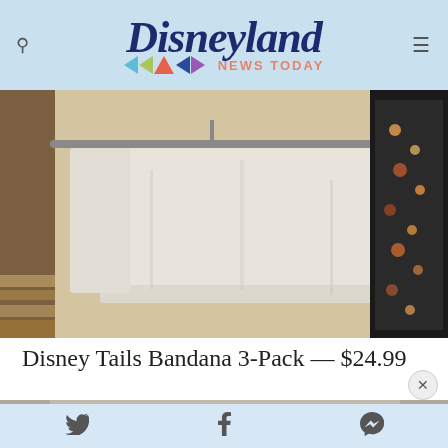Disneyland NEWS TODAY
[Figure (photo): Gray sweatshirt hanging on a rack in a store, with a floral dress visible on the right side.]
Disney Tails Bandana 3-Pack — $24.99
[Figure (photo): Clothing items on display rack in a store, bandana 3-pack merchandise.]
Twitter | Facebook | Messenger